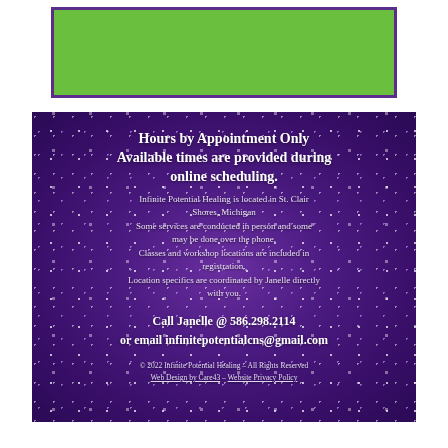[Figure (other): Green banner/header bar with purple border on white background]
[Figure (other): Purple sparkle bokeh background panel containing all text content about hours, location, and contact information]
Hours by Appointment Only
Available times are provided during online scheduling.
Infinite Potential Healing is located in St. Clair Shores, Michigan
Some services are conducted in person and some may be done over the phone.
Classes and workshop locations are included in registration.
Location specifics are coordinated by Janelle directly with you.
Call Janelle @ 586.298.2114
or email infinitepotentialcns@gmail.com
© 2022 Infinite Potential Healing – All Rights Reserved
Web Design by Care43 – Website Privacy Policy